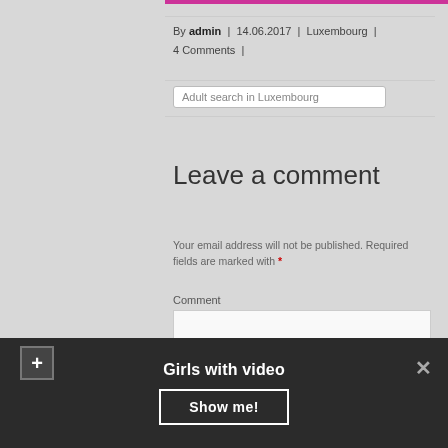By admin | 14.06.2017 | Luxembourg | 4 Comments |
Adult search in Luxembourg
Leave a comment
Your email address will not be published. Required fields are marked with *
Comment
Girls with video
Show me!